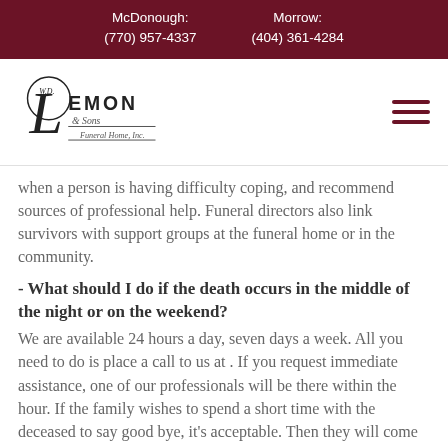McDonough: (770) 957-4337    Morrow: (404) 361-4284
[Figure (logo): W.D. Lemon & Sons Funeral Home, Inc. logo with script lettering]
when a person is having difficulty coping, and recommend sources of professional help. Funeral directors also link survivors with support groups at the funeral home or in the community.
- What should I do if the death occurs in the middle of the night or on the weekend?
We are available 24 hours a day, seven days a week. All you need to do is place a call to us at . If you request immediate assistance, one of our professionals will be there within the hour. If the family wishes to spend a short time with the deceased to say good bye, it's acceptable. Then they will come when your time is right.
- What should I do if a death occurs while away